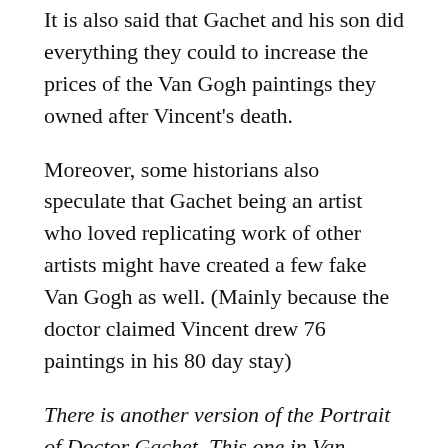It is also said that Gachet and his son did everything they could to increase the prices of the Van Gogh paintings they owned after Vincent's death.
Moreover, some historians also speculate that Gachet being an artist who loved replicating work of other artists might have created a few fake Van Gogh as well. (Mainly because the doctor claimed Vincent drew 76 paintings in his 80 day stay)
There is another version of the Portrait of Doctor Gachet. This one in Van Gogh's signature Starry blue and there are a few things changed around the table. A lot of people think its fake because Van Gogh never mentioned the second version in